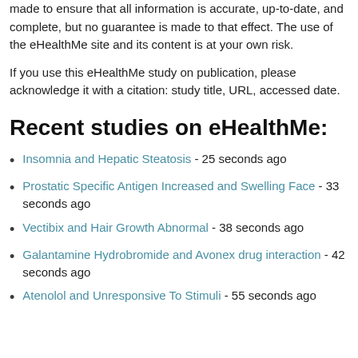made to ensure that all information is accurate, up-to-date, and complete, but no guarantee is made to that effect. The use of the eHealthMe site and its content is at your own risk.
If you use this eHealthMe study on publication, please acknowledge it with a citation: study title, URL, accessed date.
Recent studies on eHealthMe:
Insomnia and Hepatic Steatosis - 25 seconds ago
Prostatic Specific Antigen Increased and Swelling Face - 33 seconds ago
Vectibix and Hair Growth Abnormal - 38 seconds ago
Galantamine Hydrobromide and Avonex drug interaction - 42 seconds ago
Atenolol and Unresponsive To Stimuli - 55 seconds ago